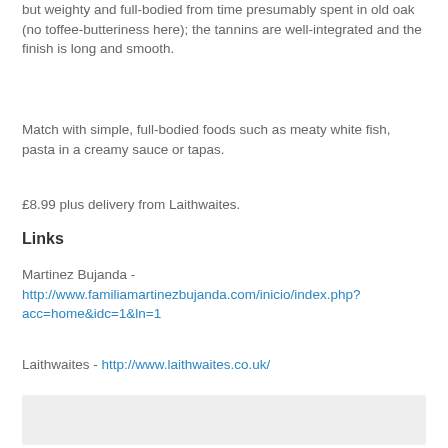but weighty and full-bodied from time presumably spent in old oak (no toffee-butteriness here); the tannins are well-integrated and the finish is long and smooth.
Match with simple, full-bodied foods such as meaty white fish, pasta in a creamy sauce or tapas.
£8.99 plus delivery from Laithwaites.
Links
Martinez Bujanda - http://www.familiamartinezbujanda.com/inicio/index.php?acc=home&idc=1&ln=1
Laithwaites - http://www.laithwaites.co.uk/
[Figure (other): Footer area with a Share button on a light grey background]